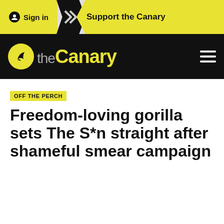Sign in | Support the Canary
[Figure (logo): The Canary logo — yellow circle with leaf icon, text 'theCanary' in white and yellow on black background]
OFF THE PERCH
Freedom-loving gorilla sets The S*n straight after shameful smear campaign